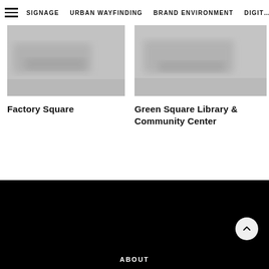SIGNAGE  URBAN WAYFINDING  BRAND ENVIRONMENT  DIGIT…
[Figure (photo): Blurred/abstract photo thumbnail for Factory Square project]
Factory Square
[Figure (photo): Blurred/abstract photo thumbnail for Green Square Library & Community Center project]
Green Square Library & Community Center
ABOUT